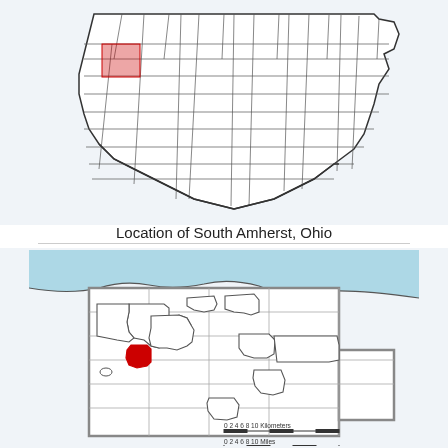[Figure (map): Outline map of Ohio showing county boundaries with a highlighted region indicating the location of South Amherst, Ohio]
Location of South Amherst, Ohio
[Figure (map): Detailed map of Lorain County, Ohio showing municipal boundaries. South Amherst is highlighted in red. Lake Erie shoreline shown in light blue at top. Scale bar showing 0-10 Kilometers and 0-10 Miles at bottom.]